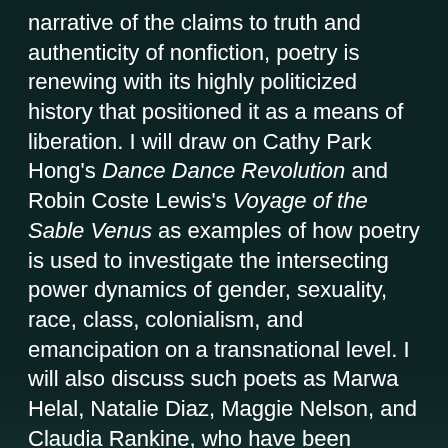narrative of the claims to truth and authenticity of nonfiction, poetry is renewing with its highly politicized history that positioned it as a means of liberation. I will draw on Cathy Park Hong's Dance Dance Revolution and Robin Coste Lewis's Voyage of the Sable Venus as examples of how poetry is used to investigate the intersecting power dynamics of gender, sexuality, race, class, colonialism, and emancipation on a transnational level. I will also discuss such poets as Marwa Helal, Natalie Diaz, Maggie Nelson, and Claudia Rankine, who have been acclaimed in their work to subvert conventional forms and create new aesthetics, as well as the growing presence of poetry within non-poetic genres, such as the novel or the essay, and what that means for poetry as a space of radical reimagining of the future.